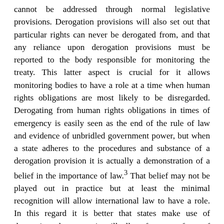cannot be addressed through normal legislative provisions. Derogation provisions will also set out that particular rights can never be derogated from, and that any reliance upon derogation provisions must be reported to the body responsible for monitoring the treaty. This latter aspect is crucial for it allows monitoring bodies to have a role at a time when human rights obligations are most likely to be disregarded. Derogating from human rights obligations in times of emergency is easily seen as the end of the rule of law and evidence of unbridled government power, but when a state adheres to the procedures and substance of a derogation provision it is actually a demonstration of a belief in the importance of law.³ That belief may not be played out in practice but at least the minimal recognition will allow international law to have a role. In this regard it is better that states make use of derogation clauses as it will allow for some form of international oversight to be exercised. When a state does not bother with derogation provisions in times of emergencies where human rights are suspended, then it is a situation of unbridled state power. This has been graphically demonstrated by the anti-terrorism measures of the USA and Russia's action in Chechnya. In both cases no derogation to an international monitoring body has been lodged even though the states in question are disregarding human rights obligations in order to respond to what is conceived as an emergency threatening the life of the nation.